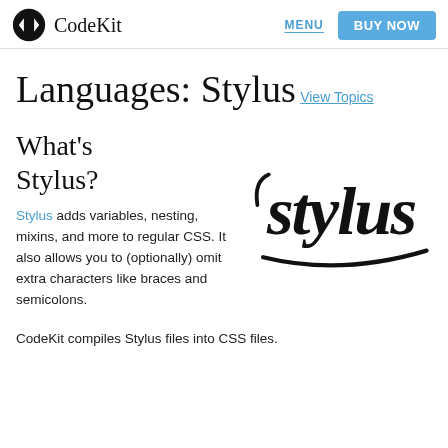CodeKit — MENU — BUY NOW
Languages: Stylus
View Topics
What's Stylus?
[Figure (logo): Stylus script wordmark logo in dark bold lettering]
Stylus adds variables, nesting, mixins, and more to regular CSS. It also allows you to (optionally) omit extra characters like braces and semicolons.
CodeKit compiles Stylus files into CSS files.